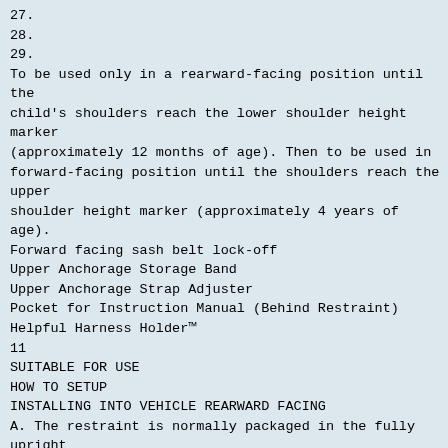27.
28.
29.
To be used only in a rearward-facing position until the
child's shoulders reach the lower shoulder height marker
(approximately 12 months of age). Then to be used in
forward-facing position until the shoulders reach the upper
shoulder height marker (approximately 4 years of age).
Forward facing sash belt lock-off
Upper Anchorage Storage Band
Upper Anchorage Strap Adjuster
Pocket for Instruction Manual (Behind Restraint)
Helpful Harness Holder™
11
SUITABLE FOR USE
HOW TO SETUP
INSTALLING INTO VEHICLE REARWARD
FACING
A. The restraint is normally packaged in the fully upright
child use mode so if you need to use it for baby use you
must first fully recline the restraint. Convert the restraint to
baby use mode by referring to steps below,
DO NOT USE RESTRAINT IN REARWARD FACING
MODE WITHOUT STABILISING BAR FULLY EXTENDED.
Do not use the restraint without the Upper Anchorage Strap...